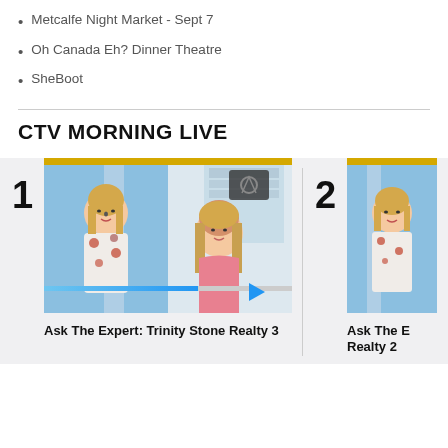Metcalfe Night Market - Sept 7
Oh Canada Eh? Dinner Theatre
SheBoot
CTV MORNING LIVE
[Figure (screenshot): Video thumbnail showing CTV Morning Live segment - Ask The Expert: Trinity Stone Realty 3, ranked #1]
Ask The Expert: Trinity Stone Realty 3
[Figure (screenshot): Video thumbnail showing CTV Morning Live segment - Ask The Expert: Realty 2, ranked #2]
Ask The E Realty 2